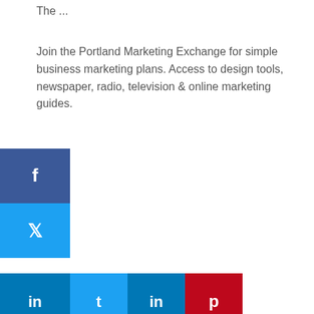The ...
Join the Portland Marketing Exchange for simple business marketing plans. Access to design tools, newspaper, radio, television & online marketing guides.
[Figure (infographic): Social media share buttons sidebar: Facebook (blue), Twitter (light blue), LinkedIn (dark blue), Pinterest (red). Inline share row below with LinkedIn, Twitter, LinkedIn, Pinterest buttons.]
Filed Under: Search Engine Optimization
Leave a Reply
Your email address will not be published. Required fields are marked *